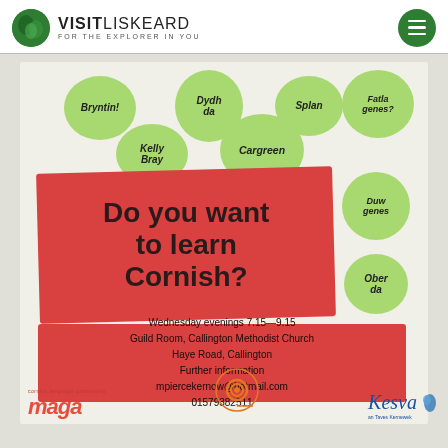[Figure (logo): Visit Liskeard logo with green circle icon and text VISITLISKEARD FOR THE EXPLORER IN YOU]
[Figure (infographic): Cornish language learning poster with green speech bubbles showing Cornish words (Bryntin!, Dydh da, Splan, Fatla genes?, Kelly Bray, Cargreen, Duw genes, Ober da), a red slanted box saying 'Do you want to learn Cornish?', a red information box with event details: Wednesday evenings 7.15-9.15, Guild Room, Callington Methodist Church, Haye Road, Callington, Further information, mpiercekernow@hotmail.com, 01579382511, and logos for maga, a spiral organization, and Kesva at the bottom]